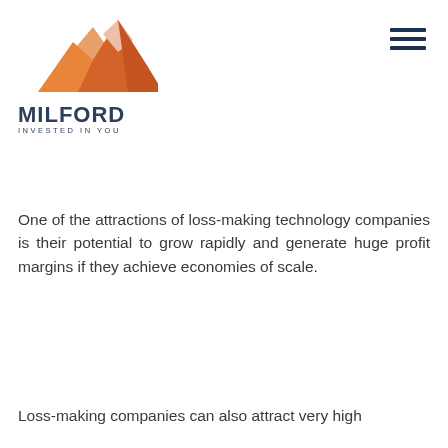[Figure (logo): Milford Asset Management logo with orange mountain graphic above text 'MILFORD INVESTED IN YOU']
One of the attractions of loss-making technology companies is their potential to grow rapidly and generate huge profit margins if they achieve economies of scale.
Loss-making companies can also attract very high